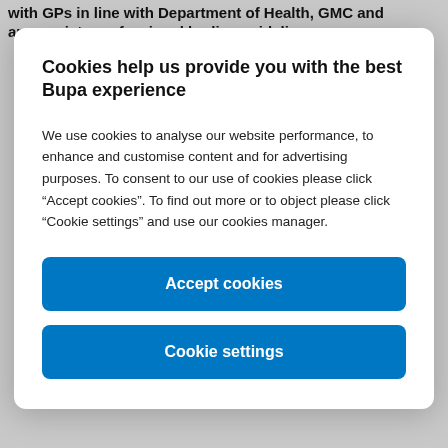with GPs in line with Department of Health, GMC and appropriate professional bodies guidelines.
Cookies help us provide you with the best Bupa experience
We use cookies to analyse our website performance, to enhance and customise content and for advertising purposes. To consent to our use of cookies please click “Accept cookies”. To find out more or to object please click “Cookie settings” and use our cookies manager.
Accept cookies
Cookie settings